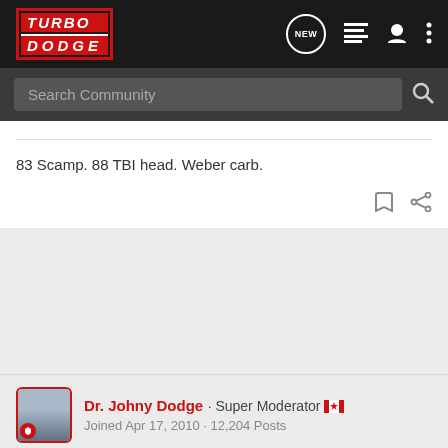[Figure (screenshot): TurboDodge forum website header with logo, navigation icons (NEW bubble, list, user, menu), and search bar]
83 Scamp. 88 TBI head. Weber carb.
Dr. Johny Dodge · Super Moderator 🇨🇦
Joined Apr 17, 2010 · 12,204 Posts
#5 · Jun 16, 2022